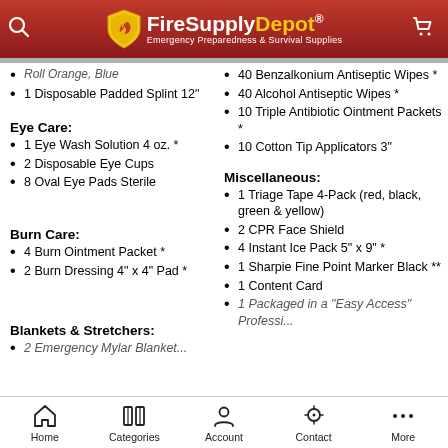FireSupplyDepot® — Emergency Preparedness & Survival Supplies
Roll Orange, Blue (truncated)
1 Disposable Padded Splint 12"
Eye Care:
1 Eye Wash Solution 4 oz. *
2 Disposable Eye Cups
8 Oval Eye Pads Sterile
Burn Care:
4 Burn Ointment Packet *
2 Burn Dressing 4" x 4" Pad *
Blankets & Stretchers:
2 Emergency Mylar Blanket (truncated)
40 Benzalkonium Antiseptic Wipes *
40 Alcohol Antiseptic Wipes *
10 Triple Antibiotic Ointment Packets *
10 Cotton Tip Applicators 3"
Miscellaneous:
1 Triage Tape 4-Pack (red, black, green & yellow)
2 CPR Face Shield
4 Instant Ice Pack 5" x 9" *
1 Sharpie Fine Point Marker Black **
1 Content Card
1 Packaged in a "Easy Access" Professional... (truncated)
Home | Categories | Account | Contact | More